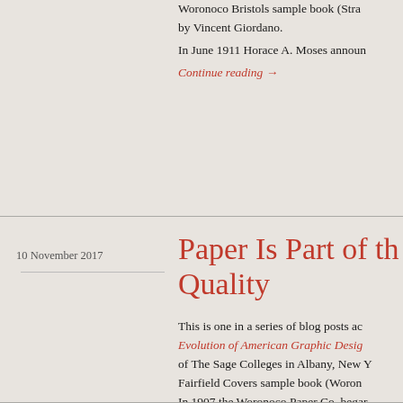Woronoco Bristols sample book (Stra... by Vincent Giordano.
In June 1911 Horace A. Moses announ...
Continue reading →
10 November 2017
Paper Is Part of th... Quality
This is one in a series of blog posts ac... Evolution of American Graphic Desig... of The Sage Colleges in Albany, New Y... Fairfield Covers sample book (Woron... In 1907 the Woronoco Paper Co. begar...
Continue reading →